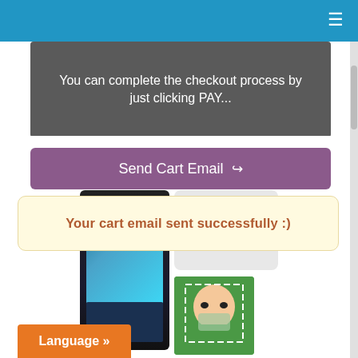≡
You can complete the checkout process by just clicking PAY...
Send Cart Email ↗
Your cart email sent successfully :)
[Figure (screenshot): Composite screenshot showing two smart home/security device screens with face recognition UI and phone icons]
Language »